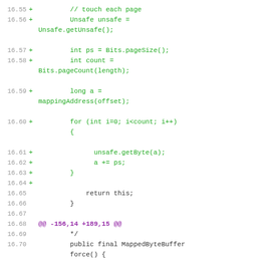Code diff showing changes to MappedByteBuffer force() method, lines 16.55-16.74
[Figure (screenshot): Git diff of Java source code showing added lines (green) for page touching loop and removed lines (red) for force() method implementation]